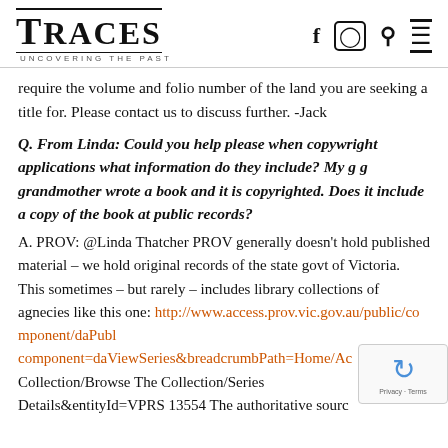TRACES — Uncovering the Past
require the volume and folio number of the land you are seeking a title for. Please contact us to discuss further. -Jack
Q. From Linda: Could you help please when copywright applications what information do they include? My g g grandmother wrote a book and it is copyrighted. Does it include a copy of the book at public records?
A. PROV: @Linda Thatcher PROV generally doesn't hold published material – we hold original records of the state govt of Victoria. This sometimes – but rarely – includes library collections of agnecies like this one: http://www.access.prov.vic.gov.au/public/component/daPubl component=daViewSeries&breadcrumbPath=Home/Ac Collection/Browse The Collection/Series Details&entityId=VPRS 13554 The authoritative sourc